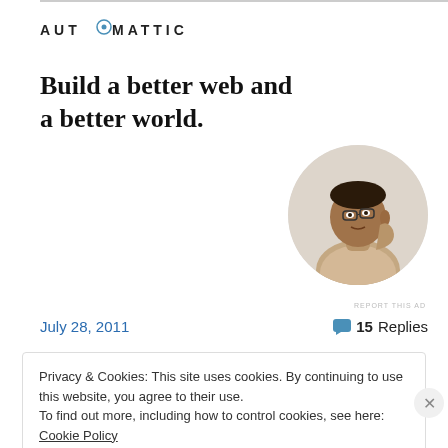[Figure (logo): Automattic company logo with stylized letter O containing a circle/target design]
Build a better web and a better world.
[Figure (photo): Circular portrait photo of a man looking upward thoughtfully, resting chin on hand]
REPORT THIS AD
July 28, 2011
15 Replies
Privacy & Cookies: This site uses cookies. By continuing to use this website, you agree to their use.
To find out more, including how to control cookies, see here: Cookie Policy